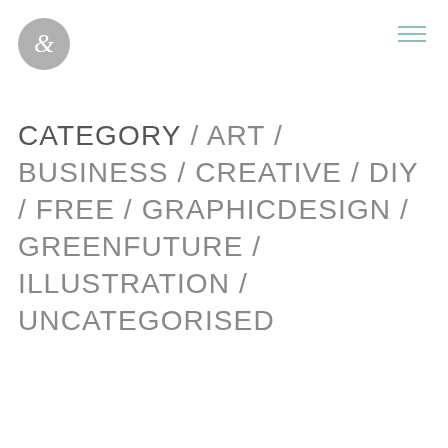[Figure (logo): Circular grey logo with an ampersand symbol]
[Figure (other): Hamburger menu icon with three horizontal lines in teal/sage green]
CATEGORY / ART / BUSINESS / CREATIVE / DIY / FREE / GRAPHICDESIGN / GREENFUTURE / ILLUSTRATION / UNCATEGORISED